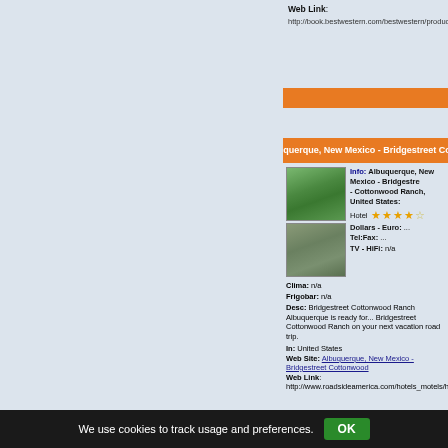Web Link: http://book.bestwestern.com/bestwestern/productInfo
Albuquerque, New Mexico - Bridgestreet Cottonwood Ranch
[Figure (photo): Two photos of the hotel/property: one showing a pool area with greenery, another showing the hotel exterior building]
Info: Albuquerque, New Mexico - Bridgestreet - Cottonwood Ranch, United States:
Hotel ★★★★☆
Dollars - Euro: ...
Tel:Fax: ...
TV - HiFi: n/a
Clima: n/a
Frigobar: n/a
Desc: Bridgestreet Cottonwood Ranch Albuquerque is ready for... Bridgestreet Cottonwood Ranch on your next vacation road trip.
In: United States
Web Site: Albuquerque, New Mexico - Bridgestreet Cottonwood...
Web Link: http://www.roadsideamerica.com/hotels_motels/hoteli
We use cookies to track usage and preferences. OK